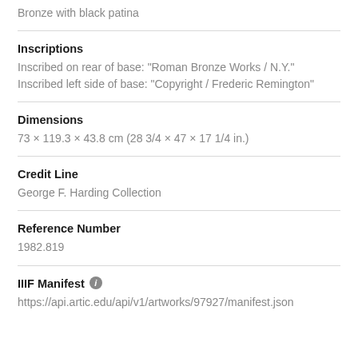Bronze with black patina
Inscriptions
Inscribed on rear of base: "Roman Bronze Works / N.Y."
Inscribed left side of base: "Copyright / Frederic Remington"
Dimensions
73 × 119.3 × 43.8 cm (28 3/4 × 47 × 17 1/4 in.)
Credit Line
George F. Harding Collection
Reference Number
1982.819
IIIF Manifest
https://api.artic.edu/api/v1/artworks/97927/manifest.json